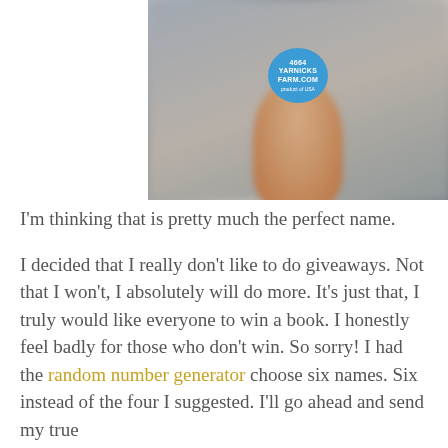[Figure (photo): A close-up blurred photo of a hand holding a small blue circular sticker/badge that reads '4664 YARNICKS FARM.COM' with additional small text below.]
I'm thinking that is pretty much the perfect name.
I decided that I really don't like to do giveaways. Not that I won't, I absolutely will do more. It's just that, I truly would like everyone to win a book. I honestly feel badly for those who don't win. So sorry! I had the random number generator choose six names. Six instead of the four I suggested. I'll go ahead and send my true...